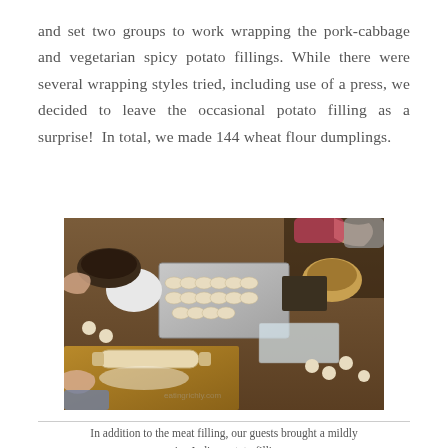and set two groups to work wrapping the pork-cabbage and vegetarian spicy potato fillings. While there were several wrapping styles tried, including use of a press, we decided to leave the occasional potato filling as a surprise!  In total, we made 144 wheat flour dumplings.
[Figure (photo): Overhead view of people sitting around a wooden table making dumplings. Visible on the table: a baking tray with formed dumplings, a rolling pin on a floured cutting board, bowls of filling, small dough balls, and people's hands working with dough.]
In addition to the meat filling, our guests brought a mildly spicy Indian potato filling